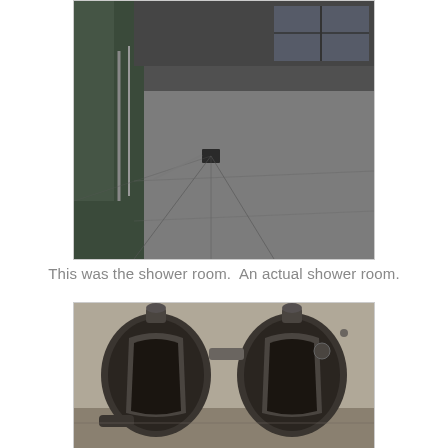[Figure (photo): Interior photo of a large empty room with a flat concrete/stone floor featuring a central drain, walls with metal railing on left side, and windows visible in the background. The shower room interior.]
This was the shower room.  An actual shower room.
[Figure (photo): Photo of two large metal cylindrical chambers with open doors mounted in a white-walled room, appearing to be industrial autoclave or delousing chambers.]